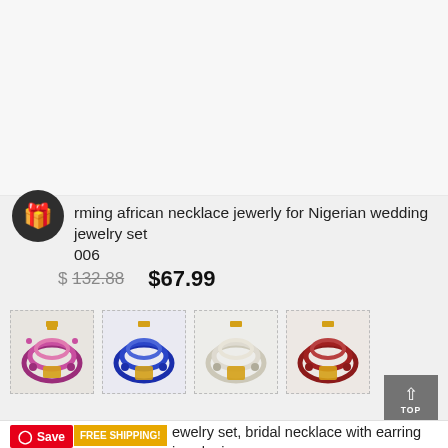[Figure (photo): Product listing image area (top, mostly white/blank)]
rming african necklace jewerly for Nigerian wedding jewelry set 006
$ 132.88   $67.99
[Figure (photo): Four thumbnail images of Nigerian beaded necklace jewelry sets in different colors]
[Figure (screenshot): Back to TOP button]
jewelry set, bridal necklace with earring jewelry in